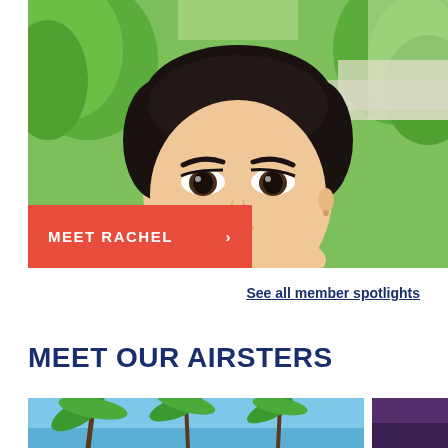[Figure (photo): Close-up portrait of a young Asian woman with short dark hair, looking forward. Green trees visible in the background outdoors.]
MEET RACHEL >
See all member spotlights
MEET OUR AIRSTERS
[Figure (photo): Partial view of tropical palm trees against a blue sky, bottom of page left image.]
[Figure (photo): Partial dark purple/magenta image, bottom right corner.]